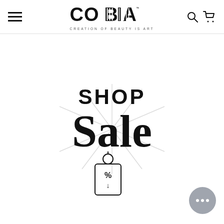COBIA — CREATION OF BEAUTY IS ART
[Figure (illustration): SHOP Sale promotional graphic with starburst lines and a price tag icon with % and down arrow symbols]
[Figure (illustration): Chat/messaging button with three dots, bottom right corner]